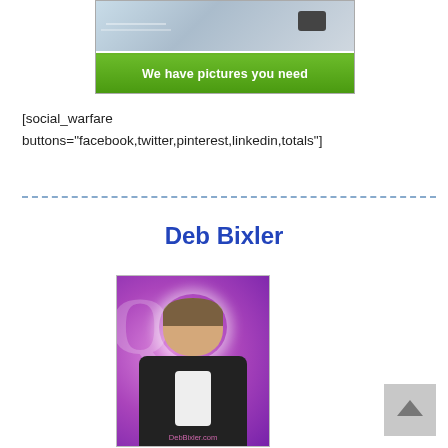[Figure (photo): Green banner advertisement with text 'We have pictures you need' and a photo of a person riding a motorcycle at the top]
[social_warfare buttons="facebook,twitter,pinterest,linkedin,totals"]
[Figure (photo): Profile photo of Deb Bixler on purple background with Q logo, wearing black jacket and white shirt, with DebBixler.com watermark]
Deb Bixler
[Figure (photo): Scroll to top button arrow on gray background]